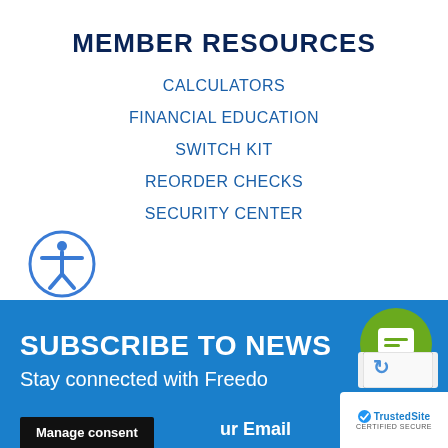MEMBER RESOURCES
CALCULATORS
FINANCIAL EDUCATION
SWITCH KIT
REORDER CHECKS
SECURITY CENTER
[Figure (illustration): Accessibility icon — blue circle with white person silhouette]
SUBSCRIBE TO NEWS
Stay connected with Freedom
[Figure (illustration): Green circle chat/message button icon]
[Figure (illustration): reCAPTCHA verification widget]
[Figure (logo): TrustedSite CERTIFIED SECURE badge]
Manage consent
ur Email